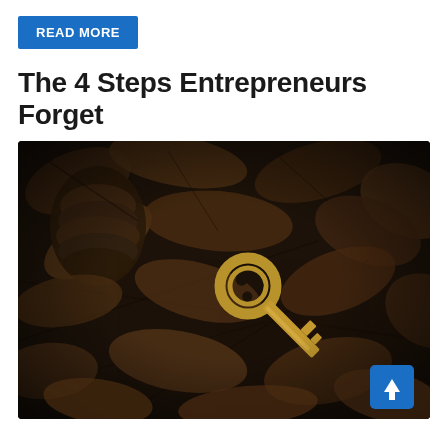READ MORE
The 4 Steps Entrepreneurs Forget
[Figure (photo): A gold/brass key lying among dark autumn leaves and a pine cone on a forest floor, dark moody tones. A blue scroll-to-top button with an upward arrow is overlaid in the bottom-right corner.]